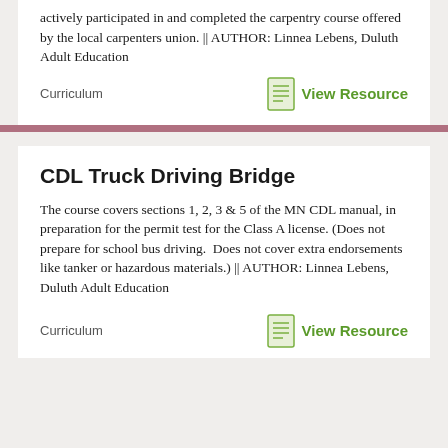actively participated in and completed the carpentry course offered by the local carpenters union. || AUTHOR: Linnea Lebens, Duluth Adult Education
Curriculum
View Resource
CDL Truck Driving Bridge
The course covers sections 1, 2, 3 & 5 of the MN CDL manual, in preparation for the permit test for the Class A license. (Does not prepare for school bus driving. Does not cover extra endorsements like tanker or hazardous materials.) || AUTHOR: Linnea Lebens, Duluth Adult Education
Curriculum
View Resource